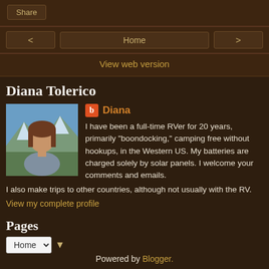Share
< Home >
View web version
Diana Tolerico
[Figure (photo): Profile photo of Diana Tolerico, a woman with brown hair in a mountain outdoor setting with blue sky]
Diana
I have been a full-time RVer for 20 years, primarily "boondocking," camping free without hookups, in the Western US. My batteries are charged solely by solar panels. I welcome your comments and emails. I also make trips to other countries, although not usually with the RV.
View my complete profile
Pages
Home ▾ ▼
Powered by Blogger.